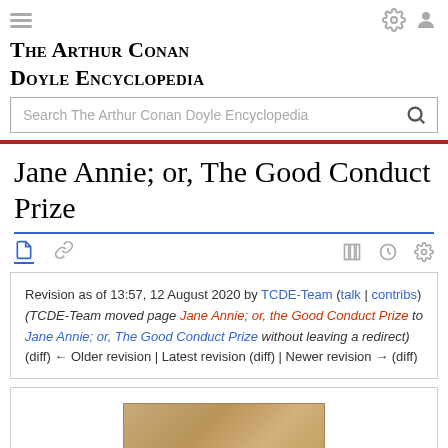The Arthur Conan Doyle Encyclopedia
Jane Annie; or, The Good Conduct Prize
Revision as of 13:57, 12 August 2020 by TCDE-Team (talk | contribs) (TCDE-Team moved page Jane Annie; or, the Good Conduct Prize to Jane Annie; or, The Good Conduct Prize without leaving a redirect) (diff) ← Older revision | Latest revision (diff) | Newer revision → (diff)
[Figure (photo): Partial view of an old document or book page with aged/yellowed appearance]